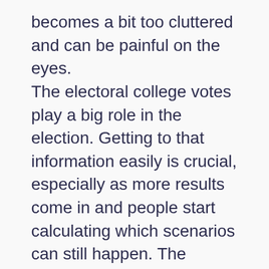becomes a bit too cluttered and can be painful on the eyes.
The electoral college votes play a big role in the election. Getting to that information easily is crucial, especially as more results come in and people start calculating which scenarios can still happen. The Guardian's cards do provide that information, although it gets a bit lost in between all the other content.
The Guardian, and CNN, have the same information available when hovering over a state on their map as well, although not